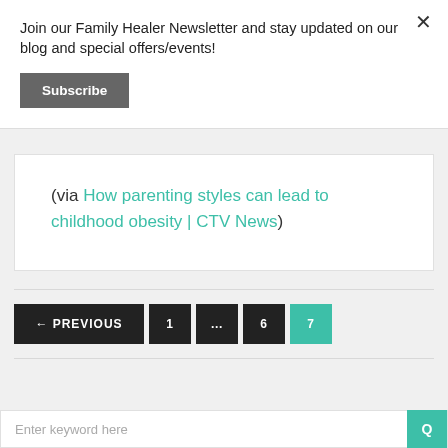Join our Family Healer Newsletter and stay updated on our blog and special offers/events!
Subscribe
(via How parenting styles can lead to childhood obesity | CTV News)
← PREVIOUS  1  ...  6  7
Enter keyword here